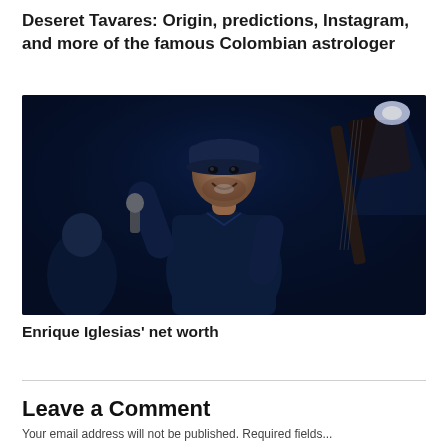Deseret Tavares: Origin, predictions, Instagram, and more of the famous Colombian astrologer
[Figure (photo): Photo of a man (Enrique Iglesias) performing on stage, holding a microphone, wearing a dark cap and dark shirt, with blue stage lighting and a guitarist visible in the background.]
Enrique Iglesias' net worth
Leave a Comment
Your email address will not be published. Required fields...